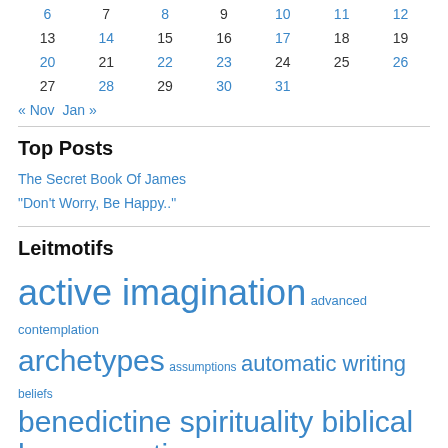| 6 | 7 | 8 | 9 | 10 | 11 | 12 |
| 13 | 14 | 15 | 16 | 17 | 18 | 19 |
| 20 | 21 | 22 | 23 | 24 | 25 | 26 |
| 27 | 28 | 29 | 30 | 31 |  |  |
« Nov   Jan »
Top Posts
The Secret Book Of James
"Don't Worry, Be Happy.."
Leitmotifs
active imagination  advanced contemplation  archetypes  assumptions  automatic writing  beliefs  benedictine spirituality  biblical hermeneutics